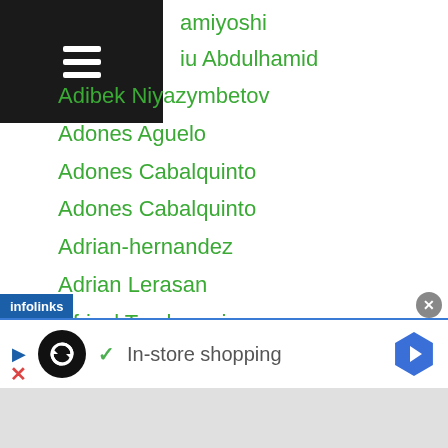amiyoshi
iu Abdulhamid
Adibek Niyazymbetov
Adones Aguelo
Adones Cabalquinto
Adones Cabalquinto
Adrian-hernandez
Adrian Lerasan
Afrizal Tamboresi
A Fu Bai
Ahatelike Muerzhabieke
Aiba
Aidar Sharibayev
Aida Satybaldinova
Aidos Yerbossynuly
er Yilixiati
[Figure (screenshot): Infolinks advertisement banner showing 'In-store shopping' with loop icon and navigation arrow]